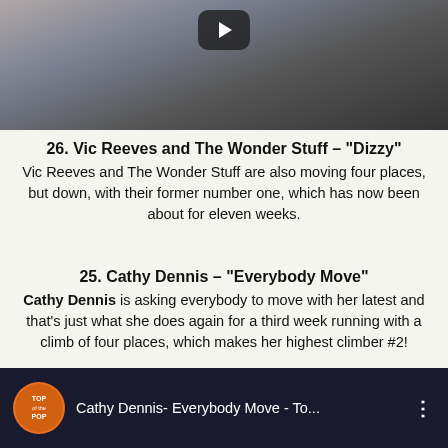[Figure (screenshot): Top portion of a YouTube video player showing a close-up of a robot or mannequin face with a play button overlay]
26. Vic Reeves and The Wonder Stuff – "Dizzy"
Vic Reeves and The Wonder Stuff are also moving four places, but down, with their former number one, which has now been about for eleven weeks.
25. Cathy Dennis – "Everybody Move"
Cathy Dennis is asking everybody to move with her latest and that's just what she does again for a third week running with a climb of four places, which makes her highest climber #2!
[Figure (screenshot): Bottom portion of a YouTube video embed showing 'Cathy Dennis- Everybody Move - To...' with a Top of the Pops logo and a woman's face visible]